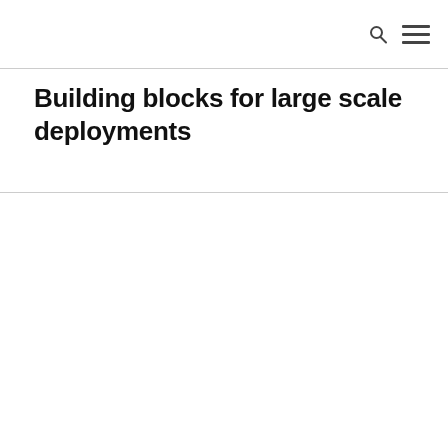Building blocks for large scale deployments